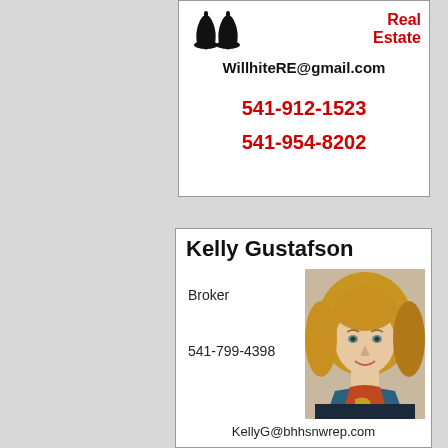[Figure (logo): Bells logo icon top left of first business card]
Real Estate
WillhiteRE@gmail.com
541-912-1523
541-954-8202
Kelly Gustafson
Broker
[Figure (photo): Headshot photo of Kelly Gustafson, a woman with blonde hair and a scarf]
541-799-4398
KellyG@bhhsnwrep.com